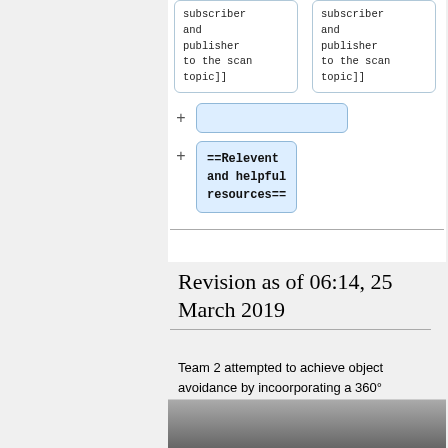[Figure (screenshot): Diff view showing two side-by-side code boxes with 'subscriber and publisher to the scan topic]]' text, and below them a new added blank line box and a code addition box showing '==Relevent and helpful resources==']
Revision as of 06:14, 25 March 2019
Team 2 attempted to achieve object avoidance by incoorporating a 360° RPLIdar along with the camera, and controlling their operation using ROS (Robot Operating System).
[Figure (photo): Partial image strip at the bottom of the page]